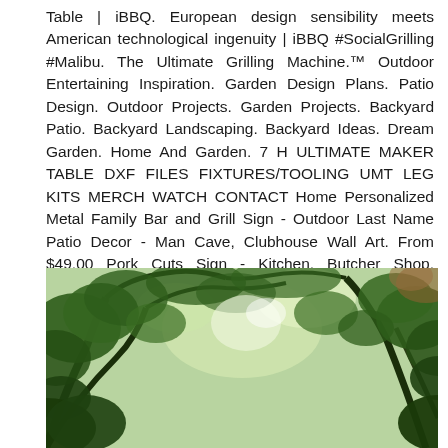Table | iBBQ. European design sensibility meets American technological ingenuity | iBBQ #SocialGrilling #Malibu. The Ultimate Grilling Machine.™ Outdoor Entertaining Inspiration. Garden Design Plans. Patio Design. Outdoor Projects. Garden Projects. Backyard Patio. Backyard Landscaping. Backyard Ideas. Dream Garden. Home And Garden. 7 H ULTIMATE MAKER TABLE DXF FILES FIXTURES/TOOLING UMT LEG KITS MERCH WATCH CONTACT Home Personalized Metal Family Bar and Grill Sign - Outdoor Last Name Patio Decor - Man Cave, Clubhouse Wall Art. From $49.00 Pork Cuts Sign - Kitchen, Butcher Shop, Barbecue, BBQ, Pig Metal Sign. From $79.00 Raw Metal House Address Numbers - Individual Numbers for House or Business. From $5.50 Sale. It's
[Figure (photo): Outdoor photo looking up through a green leafy tree canopy with sunlight filtering through the leaves and branches against a bright sky.]